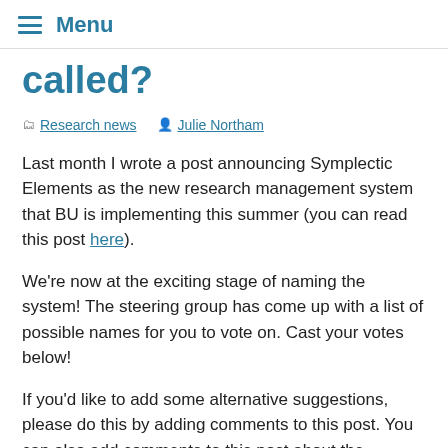☰ Menu
called?
Research news   Julie Northam
Last month I wrote a post announcing Symplectic Elements as the new research management system that BU is implementing this summer (you can read this post here).
We're now at the exciting stage of naming the system! The steering group has come up with a list of possible names for you to vote on. Cast your votes below!
If you'd like to add some alternative suggestions, please do this by adding comments to this post. You can also add comments to this post about the